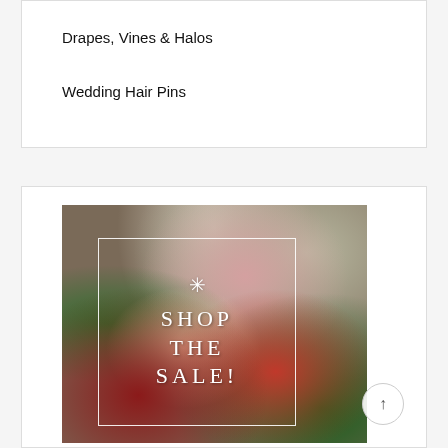Drapes, Vines & Halos
Wedding Hair Pins
[Figure (photo): Promotional image showing a hand holding a floral bouquet with red berries and flowers, with a white bordered rectangle overlay containing a snowflake/leaf icon and the text SHOP THE SALE!]